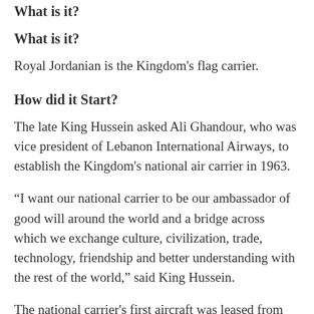What is it?
Royal Jordanian is the Kingdom's flag carrier.
How did it Start?
The late King Hussein asked Ali Ghandour, who was vice president of Lebanon International Airways, to establish the Kingdom's national air carrier in 1963.
“I want our national carrier to be our ambassador of good will around the world and a bridge across which we exchange culture, civilization, trade, technology, friendship and better understanding with the rest of the world,” said King Hussein.
The national carrier's first aircraft was leased from the Lebanese airlines and in a week, it started offering round trips from Amman to